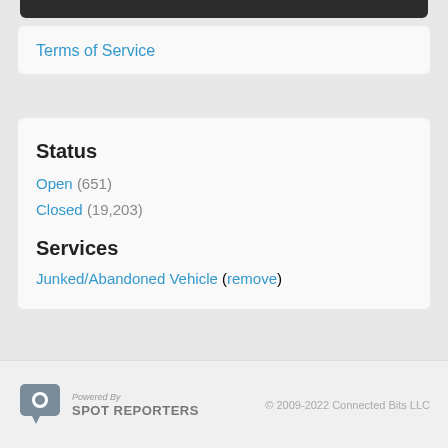Terms of Service
Status
Open (651)
Closed (19,203)
Services
Junked/Abandoned Vehicle (remove)
Powered By SPOT REPORTERS © 2009-2022 Connected Bits LLC